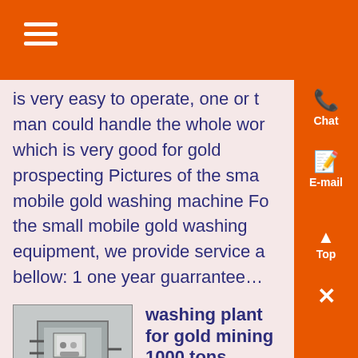is very easy to operate, one or two man could handle the whole work, which is very good for gold prospecting Pictures of the small mobile gold washing machine For the small mobile gold washing equipment, we provide service as bellow: 1 one year guarrantee...
[Figure (photo): Photo of an electrical panel or control box mounted on a wall with cables/wiring visible]
washing plant for gold mining 1000 tons
Know More
Kappes, Cassiday & Assoc Reno Mining Metallurgy KCA has fabricated 37 portable or modula...